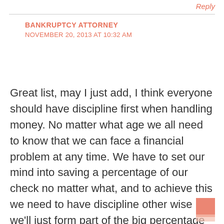Reply
BANKRUPTCY ATTORNEY
NOVEMBER 20, 2013 AT 10:32 AM
Great list, may I just add, I think everyone should have discipline first when handling money. No matter what age we all need to know that we can face a financial problem at any time. We have to set our mind into saving a percentage of our check no matter what, and to achieve this we need to have discipline other wise we'll just form part of the big percentage of people who don't know how manage their money and blows it up the first pay day.